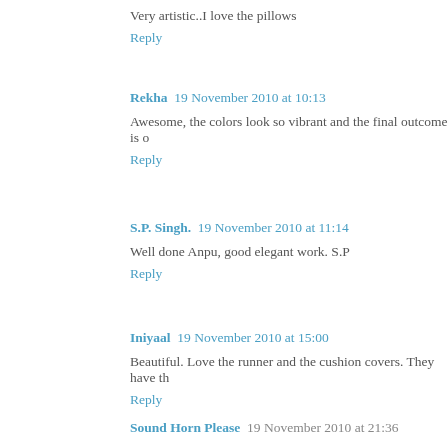Very artistic..I love the pillows
Reply
Rekha  19 November 2010 at 10:13
Awesome, the colors look so vibrant and the final outcome is o
Reply
S.P. Singh.  19 November 2010 at 11:14
Well done Anpu, good elegant work. S.P
Reply
Iniyaal  19 November 2010 at 15:00
Beautiful. Love the runner and the cushion covers. They have th
Reply
Sound Horn Please  19 November 2010 at 21:36